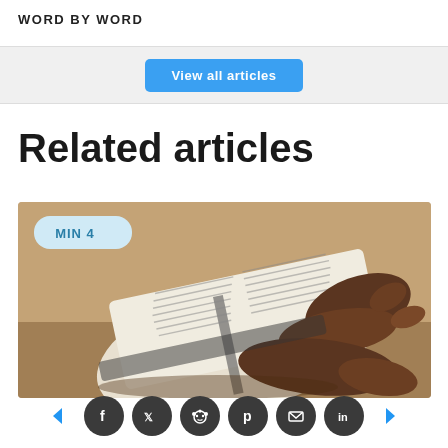WORD BY WORD
View all articles
Related articles
[Figure (photo): Hands holding an open book (Bible) with a badge showing MIN 4]
Social sharing icons: Facebook, Twitter, Reddit, Pinterest, Email, LinkedIn with navigation arrows